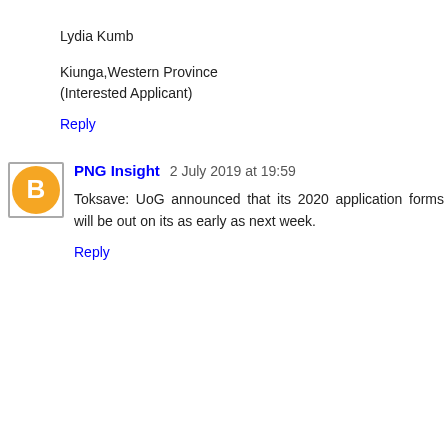Lydia Kumb
Kiunga,Western Province
(Interested Applicant)
Reply
PNG Insight 2 July 2019 at 19:59
Toksave: UoG announced that its 2020 application forms will be out on its as early as next week.
Reply